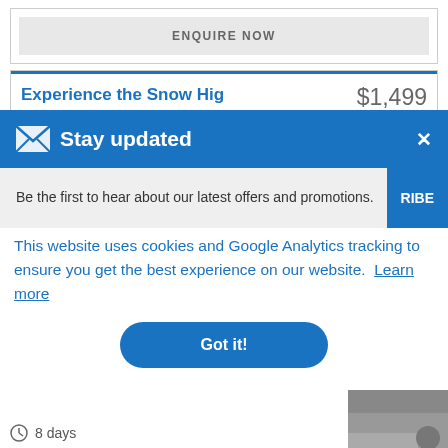ENQUIRE NOW
Experience the Snow Hig...
$1,499
✉ Stay updated
Be the first to hear about our latest offers and promotions.
SUBSCRIBE
This website uses cookies and Google Analytics tracking to ensure you get the best experience on our website. Learn more
Got it!
8 days